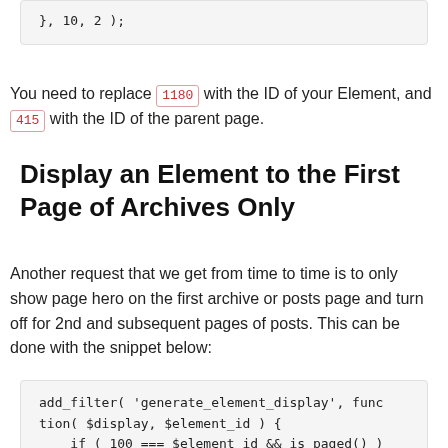}, 10, 2 );
You need to replace 1180 with the ID of your Element, and 415 with the ID of the parent page.
Display an Element to the First Page of Archives Only
Another request that we get from time to time is to only show page hero on the first archive or posts page and turn off for 2nd and subsequent pages of posts. This can be done with the snippet below:
add_filter( 'generate_element_display', function( $display, $element_id ) {
    if ( 100 === $element_id && is_paged() ) {
        $display = false;
    }